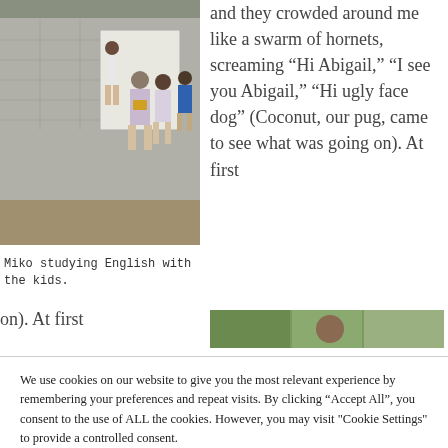[Figure (photo): Photo of Miko and children in a classroom with concrete block walls, studying English at a whiteboard]
Miko studying English with the kids.
and they crowded around me like a swarm of hornets, screaming “Hi Abigail,” “I see you Abigail,” “Hi ugly face dog” (Coconut, our pug, came to see what was going on). At first
[Figure (photo): Partial view of a second photo showing outdoor scene with greenery]
We use cookies on our website to give you the most relevant experience by remembering your preferences and repeat visits. By clicking “Accept All”, you consent to the use of ALL the cookies. However, you may visit "Cookie Settings" to provide a controlled consent.